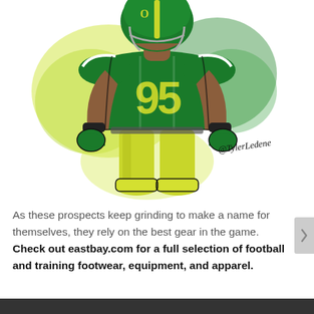[Figure (illustration): Digital illustration of an American football player wearing green and yellow uniform with number 95, in a crouching stance with fists clenched. Yellow-green watercolor splashes in background. Artist signature '@TylerLedene' in lower right.]
As these prospects keep grinding to make a name for themselves, they rely on the best gear in the game. Check out eastbay.com for a full selection of football and training footwear, equipment, and apparel.